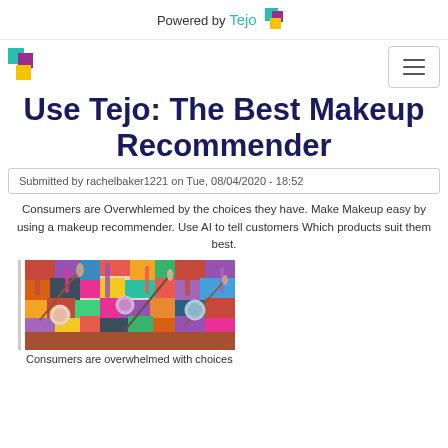Powered by Tejo
Use Tejo: The Best Makeup Recommender
Submitted by rachelbaker1221 on Tue, 08/04/2020 - 18:52
Consumers are Overwhlemed by the choices they have. Make Makeup easy by using a makeup recommender. Use AI to tell customers Which products suit them best.
[Figure (photo): A colorful pile of various makeup products including lipsticks, brushes, eyeshadow palettes, and other cosmetics]
Consumers are overwhelmed with choices